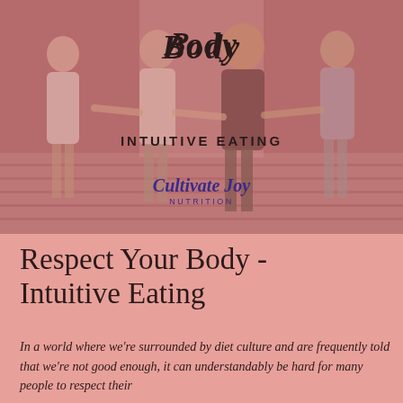[Figure (photo): Photo of a group of four young women holding hands and walking/dancing together on steps, with a pink/mauve color overlay. Text overlaid includes cursive 'Body', 'INTUITIVE EATING', and the Cultivate Joy Nutrition logo in cursive with 'NUTRITION' below.]
Respect Your Body - Intuitive Eating
In a world where we're surrounded by diet culture and are frequently told that we're not good enough, it can understandably be hard for many people to respect their